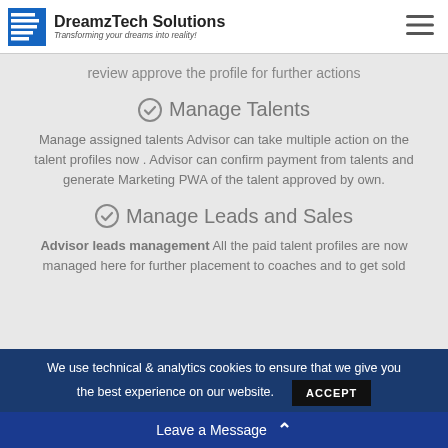DreamzTech Solutions — Transforming your dreams into reality!
review approve the profile for further actions
Manage Talents
Manage assigned talents Advisor can take multiple action on the talent profiles now . Advisor can confirm payment from talents and generate Marketing PWA of the talent approved by own.
Manage Leads and Sales
Advisor leads management All the paid talent profiles are now managed here for further placement to coaches and to get sold
We use technical & analytics cookies to ensure that we give you the best experience on our website. ACCEPT
Leave a Message